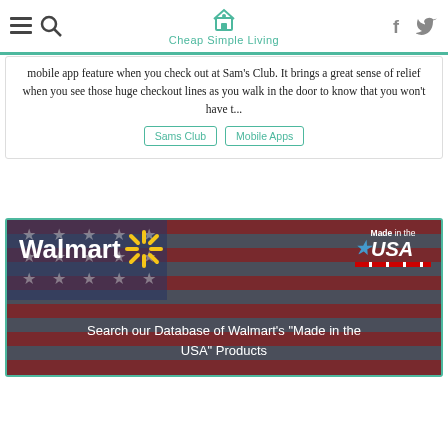Cheap Simple Living
mobile app feature when you check out at Sam's Club. It brings a great sense of relief when you see those huge checkout lines as you walk in the door to know that you won't have t...
Sams Club
Mobile Apps
[Figure (photo): Walmart 'Made in the USA' banner advertisement over an American flag background with Walmart logo and spark symbol, text reads: Search our Database of Walmart's "Made in the USA" Products]